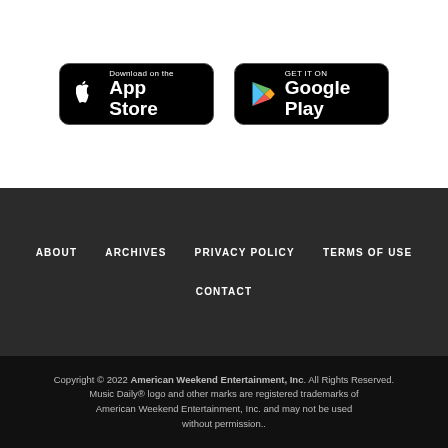[Figure (logo): Download on the App Store badge - black rounded rectangle with Apple logo and text]
[Figure (logo): GET IT ON Google Play badge - black rounded rectangle with Google Play triangle logo and text]
ABOUT   ARCHIVES   PRIVACY POLICY   TERMS OF USE   CONTACT
Copyright © 2022 American Weekend Entertainment, Inc. All Rights Reserved. Music Daily® logo and other marks are registered trademarks of American Weekend Entertainment, Inc. and may not be used without permission..